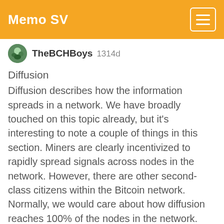Memo SV
TheBCHBoys 1314d
Diffusion
Diffusion describes how the information spreads in a network. We have broadly touched on this topic already, but it's interesting to note a couple of things in this section. Miners are clearly incentivized to rapidly spread signals across nodes in the network. However, there are other second-class citizens within the Bitcoin network. Normally, we would care about how diffusion reaches 100% of the nodes in the network. However, in Bitcoin the incentive for non-miners to search for information from miners means that the system only depends on